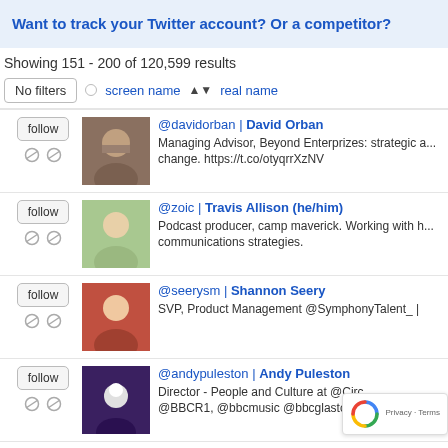Want to track your Twitter account? Or a competitor?
Showing 151 - 200 of 120,599 results
No filters  screen name ⬍ real name
@davidorban | David Orban — Managing Advisor, Beyond Enterprizes: strategic a... change. https://t.co/otyqrrXzNV
@zoic | Travis Allison (he/him) — Podcast producer, camp maverick. Working with h... communications strategies.
@seerysm | Shannon Seery — SVP, Product Management @SymphonyTalent_|
@andypuleston | Andy Puleston — Director - People and Culture at @Circ... @BBCR1, @bbcmusic @bbcglasto +
@cspenn | Christopher S. Penn